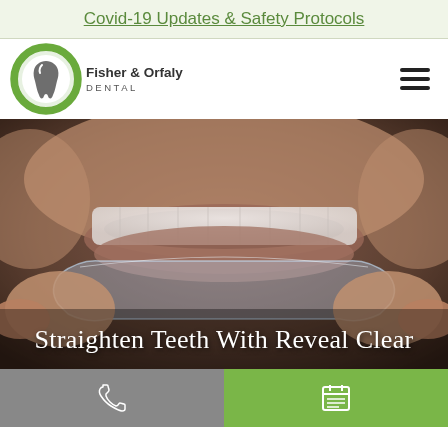Covid-19 Updates & Safety Protocols
[Figure (logo): Fisher & Orfaly Dental logo — green oval with tooth icon, text 'Fisher & Orfaly DENTAL']
[Figure (photo): Close-up photo of a person holding a clear dental aligner tray near their smiling mouth showing white teeth]
Straighten Teeth With Reveal Clear
[Figure (infographic): Bottom action bar with phone icon on grey background (left) and calendar/schedule icon on green background (right)]